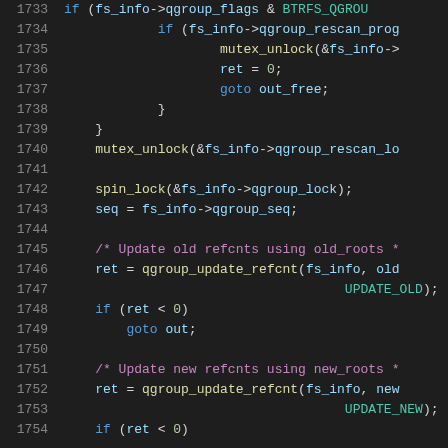[Figure (screenshot): Source code viewer showing C code lines 1733-1754, syntax highlighted on dark background. Code involves qgroup operations in a Linux kernel BTRFS filesystem driver.]